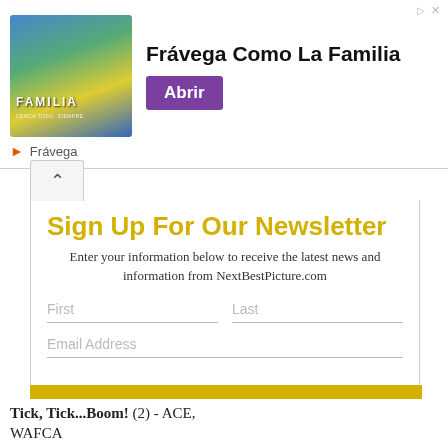[Figure (screenshot): Advertisement banner for Frávega showing 'Familia' branding with group photo, text 'Frávega Como La Familia', and purple 'Abrir' button. Brand name 'Frávega' shown below with orange arrow icon.]
Sign Up For Our Newsletter
Enter your information below to receive the latest news and information from NextBestPicture.com
First
Last
Email Address
Subscribe
Tick, Tick...Boom! (2) - ACE, WAFCA